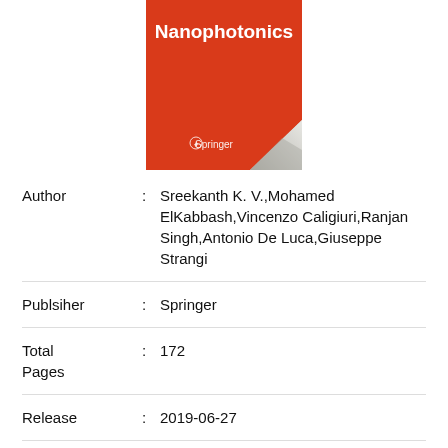[Figure (illustration): Book cover for Nanophotonics published by Springer. Red background with white title text 'Nanophotonics' at top, Springer logo and a page-curl effect at bottom right.]
| Author | : Sreekanth K. V.,Mohamed ElKabbash,Vincenzo Caligiuri,Ranjan Singh,Antonio De Luca,Giuseppe Strangi |
| Publsiher | : Springer |
| Total Pages | : 172 |
| Release | : 2019-06-27 |
| ISBN | : 9811388911 |
| Category | : Science |
| Language | : EN, FR, DE, ES & NL |